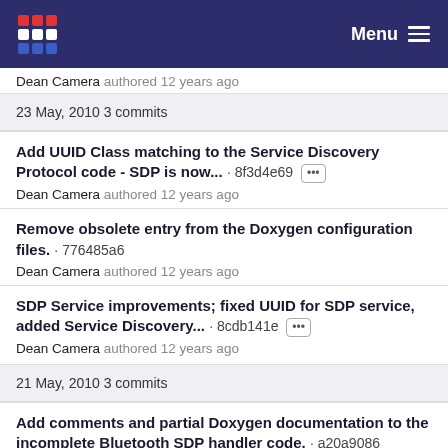Menu
Dean Camera authored 12 years ago
23 May, 2010 3 commits
Add UUID Class matching to the Service Discovery Protocol code - SDP is now... · 8f3d4e69 [...]
Dean Camera authored 12 years ago
Remove obsolete entry from the Doxygen configuration files. · 776485a6
Dean Camera authored 12 years ago
SDP Service improvements; fixed UUID for SDP service, added Service Discovery... · 8cdb141e [...]
Dean Camera authored 12 years ago
21 May, 2010 3 commits
Add comments and partial Doxygen documentation to the incomplete Bluetooth SDP handler code. · a20a9086
Dean Camera authored 12 years ago